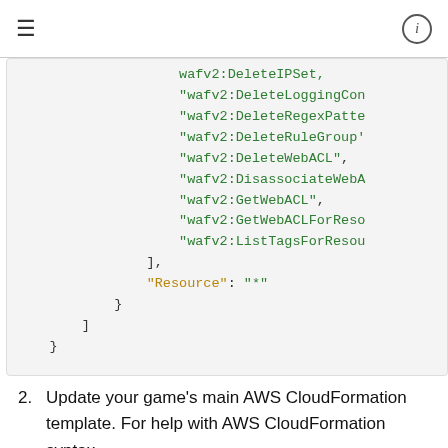[Figure (screenshot): Code block showing JSON policy fragment with wafv2 action strings: wafv2:DeleteIPSet, wafv2:DeleteLoggingConfiguration, wafv2:DeleteRegexPatternSet, wafv2:DeleteRuleGroup, wafv2:DeleteWebACL, wafv2:DisassociateWebACL, wafv2:GetWebACL, wafv2:GetWebACLForResource, wafv2:ListTagsForResource, then closing brackets and Resource: *]
2.  Update your game's main AWS CloudFormation template. For help with AWS CloudFormation syntax